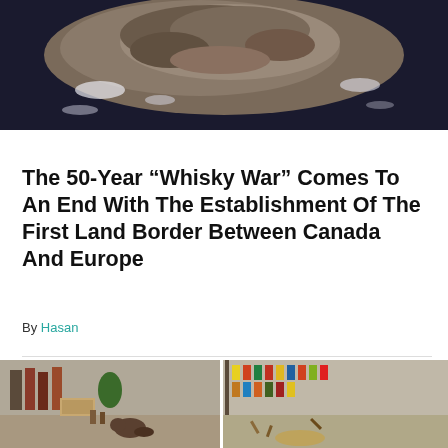[Figure (photo): Aerial view of a rocky island surrounded by dark water with ice/snow patches]
The 50-Year “Whisky War” Comes To An End With The Establishment Of The First Land Border Between Canada And Europe
By Hasan
[Figure (photo): Two side-by-side photos: left shows a beaver in a liquor store, right shows a messy liquor store aisle with knocked-over bottles]
Cameras capture a small intruder helping